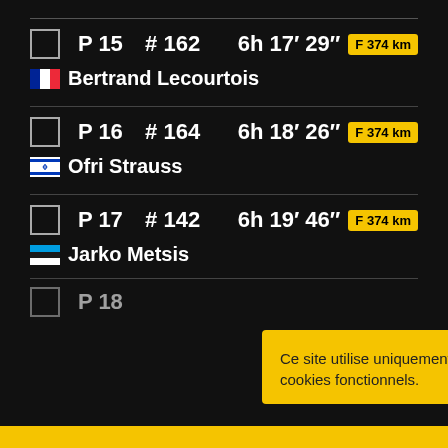P 15  # 162   6h 17' 29"  F 374 km  — Bertrand Lecourtois (France)
P 16  # 164   6h 18' 26"  F 374 km  — Ofri Strauss (Israel)
P 17  # 142   6h 19' 46"  F 374 km  — Jarko Metsis (Estonia)
P 18  (partially visible)
Ce site utilise uniquement des cookies fonctionnels.